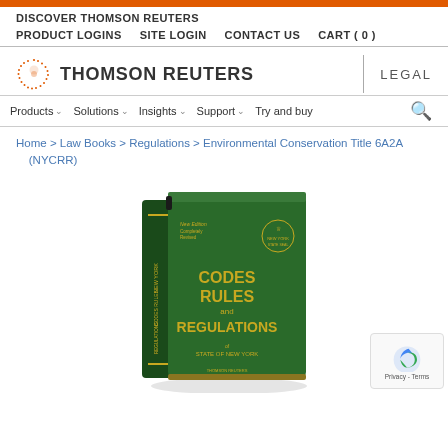DISCOVER THOMSON REUTERS
PRODUCT LOGINS   SITE LOGIN   CONTACT US   CART ( 0 )
[Figure (logo): Thomson Reuters logo with dotted circle and text THOMSON REUTERS | LEGAL]
Products   Solutions   Insights   Support   Try and buy
Home > Law Books > Regulations > Environmental Conservation Title 6A2A (NYCRR)
[Figure (photo): Green hardcover book titled 'New York Codes Rules and Regulations STATE OF NEW YORK' with gold text and New York state seal]